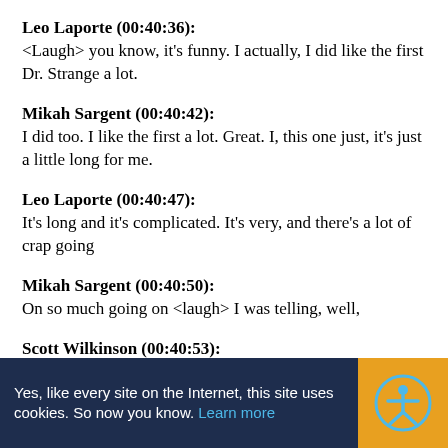Leo Laporte (00:40:36):
<Laugh> you know, it's funny. I actually, I did like the first Dr. Strange a lot.
Mikah Sargent (00:40:42):
I did too. I like the first a lot. Great. I, this one just, it's just a little long for me.
Leo Laporte (00:40:47):
It's long and it's complicated. It's very, and there's a lot of crap going
Mikah Sargent (00:40:50):
On so much going on <laugh> I was telling, well,
Scott Wilkinson (00:40:53):
It's go
Yes, like every site on the Internet, this site uses cookies. So now you know. Learn more